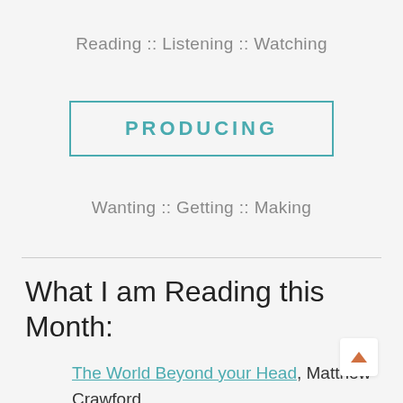Reading :: Listening :: Watching
PRODUCING
Wanting :: Getting :: Making
What I am Reading this Month:
The World Beyond your Head, Matthew Crawford